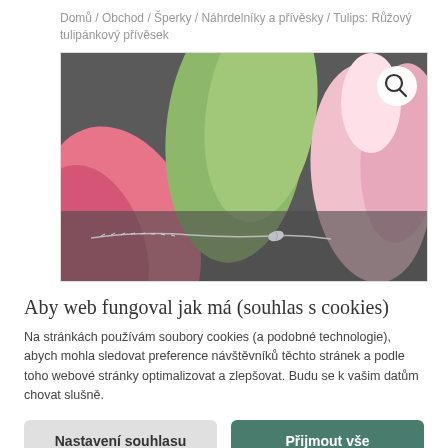Domů / Obchod / Šperky / Náhrdelníky a přívěsky / Tulips: Růžový tulipánkový přívěsek
[Figure (photo): Close-up photo of pink tulips on a dark slate surface with a silver chain necklace featuring a small leaf pendant. A magnifier/zoom icon button is in the top-right corner.]
Aby web fungoval jak má (souhlas s cookies)
Na stránkách používám soubory cookies (a podobné technologie), abych mohla sledovat preference návštěvníků těchto stránek a podle toho webové stránky optimalizovat a zlepšovat. Budu se k vašim datům chovat slušně.
Nastavení souhlasu
Přijmout vše